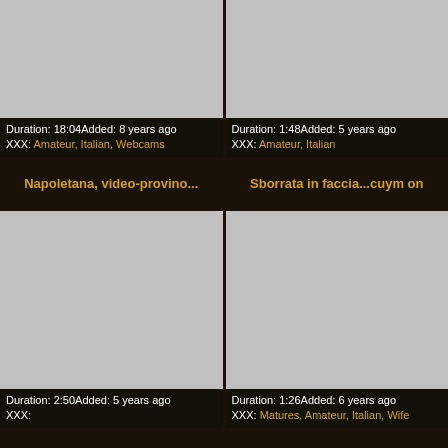[Figure (photo): Gray placeholder thumbnail, top left]
Duration: 18:04Added: 8 years ago
XXX: Amateur, Italian, Webcams
[Figure (photo): Gray placeholder thumbnail, top right]
Duration: 1:48Added: 5 years ago
XXX: Amateur, Italian
Napoletana, video-provino...
Sborrata in faccia...cuym on
[Figure (photo): Gray placeholder thumbnail, middle left]
Duration: 2:50Added: 5 years ago
XXX:
[Figure (photo): Gray placeholder thumbnail, middle right]
Duration: 1:26Added: 6 years ago
XXX: Matures, Amateur, Italian, Wife
Nel parcheggio con Carla
Ita Amat